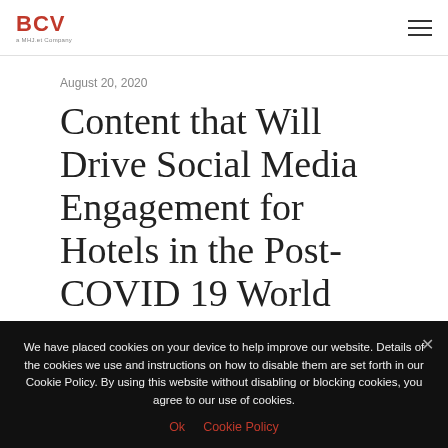BCV – a MHJ.et Company
August 20, 2020
Content that Will Drive Social Media Engagement for Hotels in the Post-COVID 19 World
We have placed cookies on your device to help improve our website. Details of the cookies we use and instructions on how to disable them are set forth in our Cookie Policy. By using this website without disabling or blocking cookies, you agree to our use of cookies.
Ok   Cookie Policy